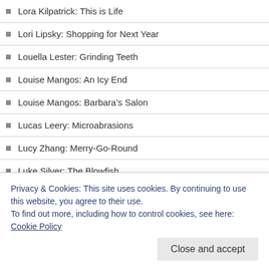Lora Kilpatrick: This is Life
Lori Lipsky: Shopping for Next Year
Louella Lester: Grinding Teeth
Louise Mangos: An Icy End
Louise Mangos: Barbara's Salon
Lucas Leery: Microabrasions
Lucy Zhang: Merry-Go-Round
Luke Silver: The Blowfish
Lynn Mundell: Laura
M.S.: The Babysitter
M.S.: Vicious Cycle
Privacy & Cookies: This site uses cookies. By continuing to use this website, you agree to their use. To find out more, including how to control cookies, see here: Cookie Policy
Close and accept